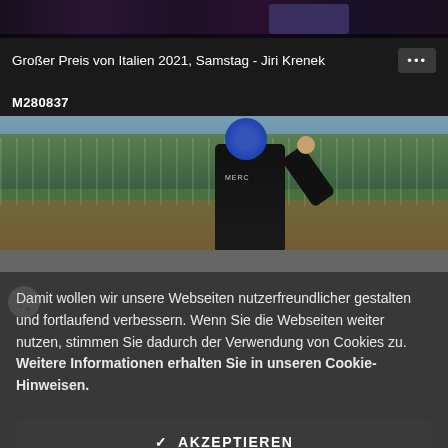[Figure (photo): Top strip showing a partially visible crowd/event scene with dark purple/blue tones]
Großer Preis von Italien 2021, Samstag - Jiri Krenek
M280837
[Figure (photo): Formula 1 driver wearing black racing suit and blue cap waving to the crowd at the Italian Grand Prix 2021. Chain-link fence and crowd visible in background with trees and sky.]
Damit wollen wir unsere Webseiten nutzerfreundlicher gestalten und fortlaufend verbessern. Wenn Sie die Webseiten weiter nutzen, stimmen Sie dadurch der Verwendung von Cookies zu. Weitere Informationen erhalten Sie in unseren Cookie-Hinweisen.
✔ AKZEPTIEREN